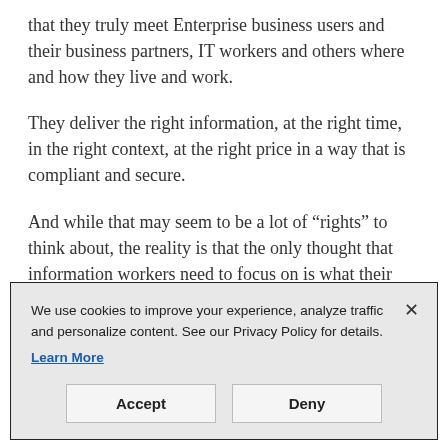that they truly meet Enterprise business users and their business partners, IT workers and others where and how they live and work.
They deliver the right information, at the right time, in the right context, at the right price in a way that is compliant and secure.
And while that may seem to be a lot of “rights” to think about, the reality is that the only thought that information workers need to focus on is what their actual work requires. Not only that, but all of the information they need to do their work is accessible and literally at
We use cookies to improve your experience, analyze traffic and personalize content. See our Privacy Policy for details. Learn More
Accept
Deny